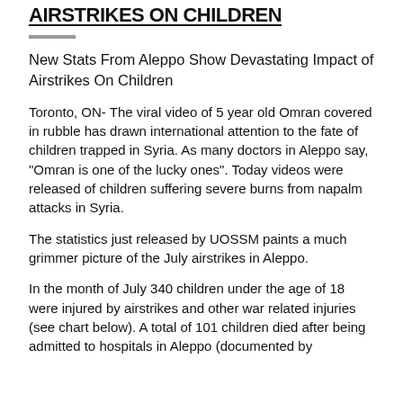AIRSTRIKES ON CHILDREN
New Stats From Aleppo Show Devastating Impact of Airstrikes On Children
Toronto, ON- The viral video of 5 year old Omran covered in rubble has drawn international attention to the fate of children trapped in Syria. As many doctors in Aleppo say, "Omran is one of the lucky ones". Today videos were released of children suffering severe burns from napalm attacks in Syria.
The statistics just released by UOSSM paints a much grimmer picture of the July airstrikes in Aleppo.
In the month of July 340 children under the age of 18 were injured by airstrikes and other war related injuries (see chart below). A total of 101 children died after being admitted to hospitals in Aleppo (documented by